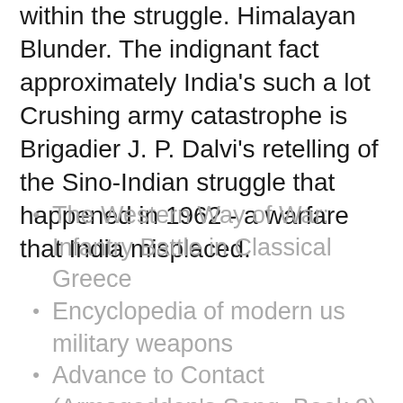within the struggle. Himalayan Blunder. The indignant fact approximately India's such a lot Crushing army catastrophe is Brigadier J. P. Dalvi's retelling of the Sino-Indian struggle that happened in 1962 - a warfare that India misplaced.
The Western Way of War: Infantry Battle in Classical Greece
Encyclopedia of modern us military weapons
Advance to Contact (Armageddon's Song, Book 2)
The Long Road: Trials and Tribulations of Airmen Prisoners from Stalag Luft VII (Bankau) to Berlin - June 1944 - May